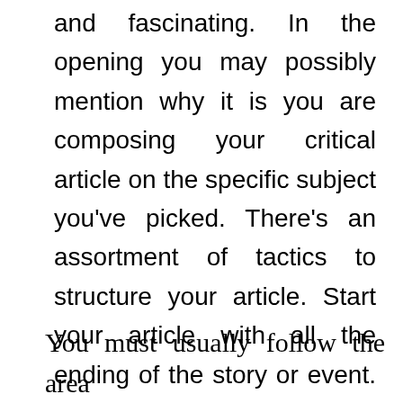and fascinating. In the opening you may possibly mention why it is you are composing your critical article on the specific subject you've picked. There's an assortment of tactics to structure your article. Start your article with all the ending of the story or event. The decision is to refresh your article within the readers's head. There's a fantastic bundle of imaginative independence in a story article that WOn't exist in lots of various kinds of writing.
You must usually follow the area